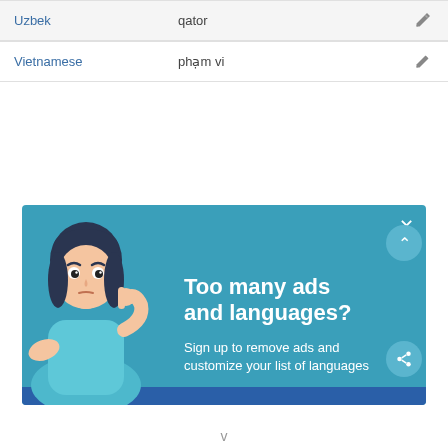| Language | Translation |  |
| --- | --- | --- |
| Uzbek | qator | ✏ |
| Vietnamese | phạm vi | ✏ |
[Figure (illustration): Advertisement banner with teal background showing a cartoon woman with a puzzled expression touching her face, with text 'Too many ads and languages?' and 'Sign up to remove ads and customize your list of languages'. Has close (X) button, up chevron button, and share button on the right side. Dark blue bar at the bottom.]
v